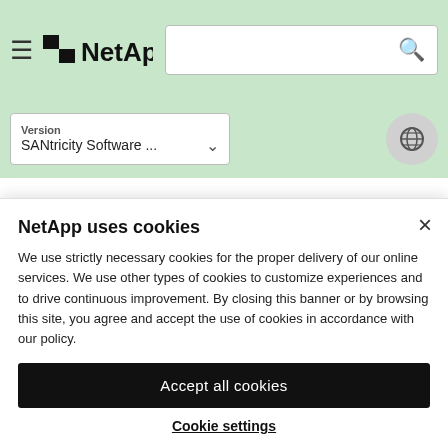NetApp — SANtricity Software ... — Version dropdown — Search bar
Restrictions
In addition to the requirements above, make sure you
NetApp uses cookies

We use strictly necessary cookies for the proper delivery of our online services. We use other types of cookies to customize experiences and to drive continuous improvement. By closing this banner or by browsing this site, you agree and accept the use of cookies in accordance with our policy.
Accept all cookies
Cookie settings